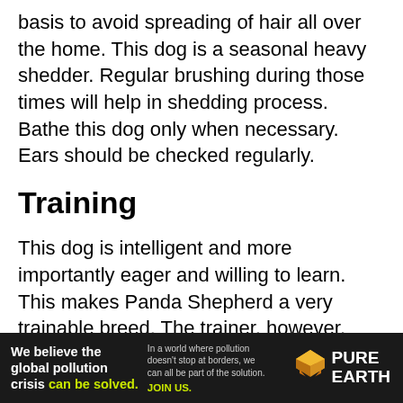basis to avoid spreading of hair all over the home. This dog is a seasonal heavy shedder. Regular brushing during those times will help in shedding process. Bathe this dog only when necessary. Ears should be checked regularly.
Training
This dog is intelligent and more importantly eager and willing to learn. This makes Panda Shepherd a very trainable breed. The trainer, however, should display proper leadership skills to avoid stubborn and willful behavior from this breed. A calm and stable, confident trainer will get the best out of this dog.
[Figure (infographic): Advertisement banner for Pure Earth: 'We believe the global pollution crisis can be solved.' with tagline 'In a world where pollution doesn't stop at borders, we can all be part of the solution. JOIN US.' and Pure Earth logo with diamond/chevron icon.]